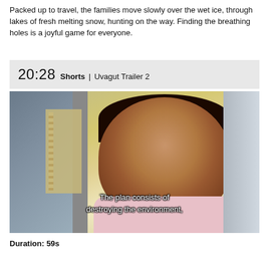Packed up to travel, the families move slowly over the wet ice, through lakes of fresh melting snow, hunting on the way. Finding the breathing holes is a joyful game for everyone.
20:28 Shorts | Uvagut Trailer 2
[Figure (screenshot): Video still showing an elderly Indigenous woman in a pink shirt, looking down, with subtitle text 'The plan consists of destroying the environment,' overlaid on the image. A cardboard box and another person are visible on the left side.]
Duration: 59s